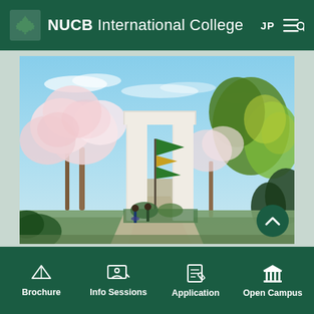NUCB International College
[Figure (photo): Campus entrance gate with cherry blossom trees and a green/yellow flag, people cycling through, clear blue sky, lush green trees on the right side.]
Brochure | Info Sessions | Application | Open Campus